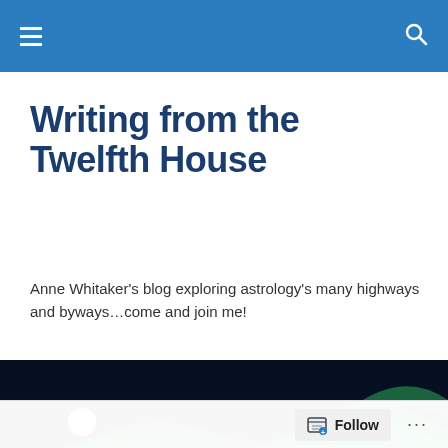Navigation bar with hamburger menu and search icon
Writing from the Twelfth House
Anne Whitaker's blog exploring astrology's many highways and byways…come and join me!
[Figure (photo): Northern lights (aurora borealis) in green swirling patterns over dark rocky landscape with moon visible]
Big Picture series Part Seven:
Follow